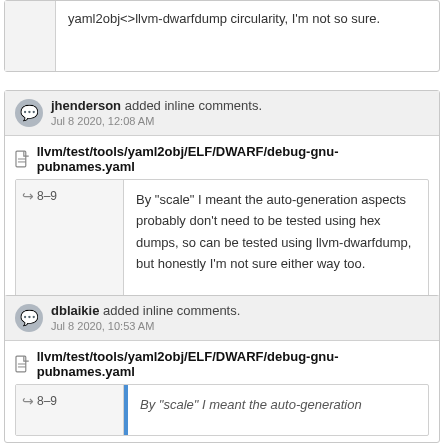yaml2obj<>llvm-dwarfdump circularity, I'm not so sure.
jhenderson added inline comments. Jul 8 2020, 12:08 AM
llvm/test/tools/yaml2obj/ELF/DWARF/debug-gnu-pubnames.yaml
8–9  By "scale" I meant the auto-generation aspects probably don't need to be tested using hex dumps, so can be tested using llvm-dwarfdump, but honestly I'm not sure either way too.
dblaikie added inline comments. Jul 8 2020, 10:53 AM
llvm/test/tools/yaml2obj/ELF/DWARF/debug-gnu-pubnames.yaml
8–9  By "scale" I meant the auto-generation